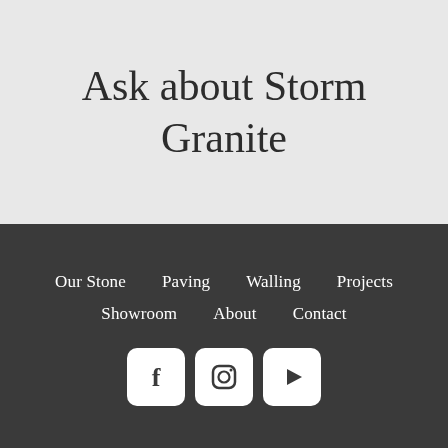Ask about Storm Granite
Our Stone
Paving
Walling
Projects
Showroom
About
Contact
[Figure (logo): Facebook, Instagram, and YouTube social media icons in white rounded square buttons]